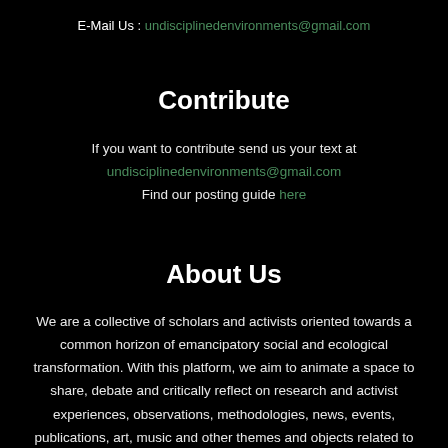E-Mail Us : undisciplinedenvironments@gmail.com
Contribute
If you want to contribute send us your text at undisciplinedenvironments@gmail.com Find our posting guide here
About Us
We are a collective of scholars and activists oriented towards a common horizon of emancipatory social and ecological transformation. With this platform, we aim to animate a space to share, debate and critically reflect on research and activist experiences, observations, methodologies, news, events, publications, art, music and other themes and objects related to political ecology.